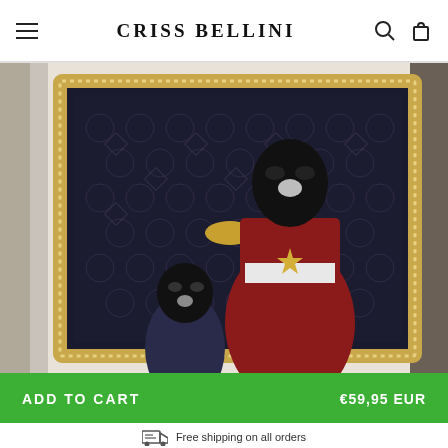CRISS BELLINI
[Figure (photo): Product photo of a framed artwork on a wall. The artwork features figures wearing black ski masks dressed in ornate royal/ceremonial garb, set against a dark Louis Vuitton monogram pattern background. The frame is decorated with rhinestones/crystals.]
ADD TO CART   €59,95 EUR
Free shipping on all orders